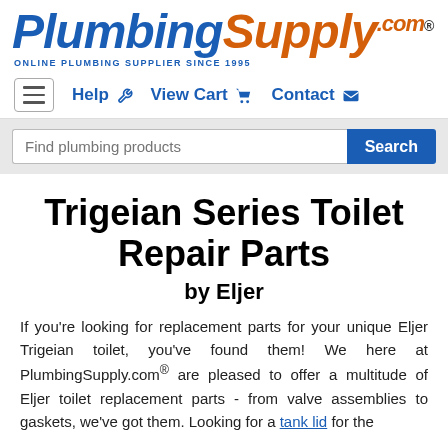[Figure (logo): PlumbingSupply.com logo with tagline 'ONLINE PLUMBING SUPPLIER SINCE 1995'. 'Plumbing' in blue italic bold, 'Supply' in orange italic bold, '.com' in orange with registered trademark symbol.]
Help  View Cart  Contact
Find plumbing products  Search
Trigeian Series Toilet Repair Parts
by Eljer
If you're looking for replacement parts for your unique Eljer Trigeian toilet, you've found them! We here at PlumbingSupply.com® are pleased to offer a multitude of Eljer toilet replacement parts - from valve assemblies to gaskets, we've got them. Looking for a tank lid for the